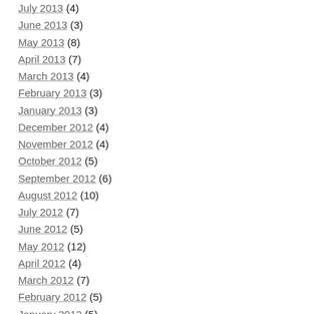July 2013 (4)
June 2013 (3)
May 2013 (8)
April 2013 (7)
March 2013 (4)
February 2013 (3)
January 2013 (3)
December 2012 (4)
November 2012 (4)
October 2012 (5)
September 2012 (6)
August 2012 (10)
July 2012 (7)
June 2012 (5)
May 2012 (12)
April 2012 (4)
March 2012 (7)
February 2012 (5)
January 2012 (5)